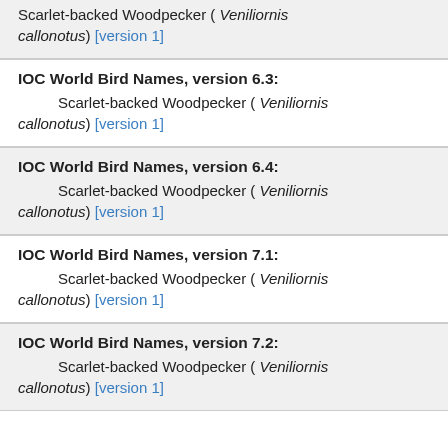Scarlet-backed Woodpecker ( Veniliornis callonotus) [version 1]
IOC World Bird Names, version 6.3:
Scarlet-backed Woodpecker ( Veniliornis callonotus) [version 1]
IOC World Bird Names, version 6.4:
Scarlet-backed Woodpecker ( Veniliornis callonotus) [version 1]
IOC World Bird Names, version 7.1:
Scarlet-backed Woodpecker ( Veniliornis callonotus) [version 1]
IOC World Bird Names, version 7.2:
Scarlet-backed Woodpecker ( Veniliornis callonotus) [version 1]